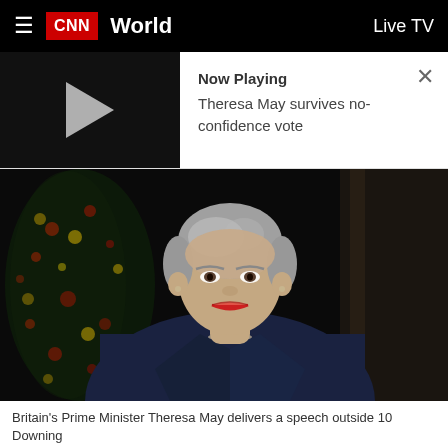CNN World  Live TV
[Figure (screenshot): Video thumbnail strip showing play button on dark background with 'Now Playing: Theresa May survives no-confidence vote' text and close button]
[Figure (photo): Britain's Prime Minister Theresa May delivers a speech outside 10 Downing Street, standing in front of a dark background with a Christmas tree with red and yellow lights visible to the left, wearing a dark navy blazer]
Britain's Prime Minister Theresa May delivers a speech outside 10 Downing